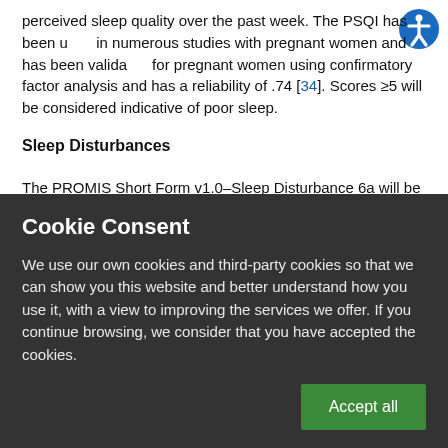perceived sleep quality over the past week. The PSQI has been used in numerous studies with pregnant women and has been validated for pregnant women using confirmatory factor analysis and has a reliability of .74 [34]. Scores ≥5 will be considered indicative of poor sleep.
Sleep Disturbances
The PROMIS Short Form v1.0–Sleep Disturbance 6a will be used to measure sleep disturbances [35]. This validated 6-item scale
Cookie Consent
We use our own cookies and third-party cookies so that we can show you this website and better understand how you use it, with a view to improving the services we offer. If you continue browsing, we consider that you have accepted the cookies.